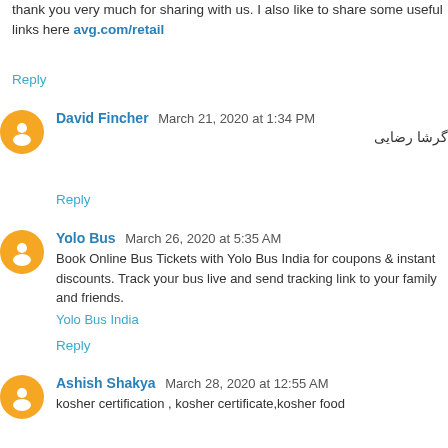thank you very much for sharing with us. I also like to share some useful links here avg.com/retail
Reply
David Fincher  March 21, 2020 at 1:34 PM
گرشا رضایی
Reply
Yolo Bus  March 26, 2020 at 5:35 AM
Book Online Bus Tickets with Yolo Bus India for coupons & instant discounts. Track your bus live and send tracking link to your family and friends. Yolo Bus India
Reply
Ashish Shakya  March 28, 2020 at 12:55 AM
kosher certification , kosher certificate,kosher food